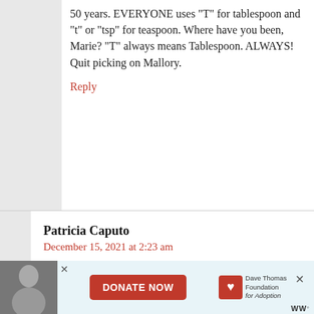50 years. EVERYONE uses “T” for tablespoon and “t” or “tsp” for teaspoon. Where have you been, Marie? “T” always means Tablespoon. ALWAYS! Quit picking on Mallory.
Reply
Patricia Caputo
December 15, 2021 at 2:23 am
I’ve been around for 70+ years and have seen recipes written both ways. T for tablespoon and t for teaspoon is just as acceptable as Tbls. and tsp. respectively. More important is what ingredients are in the recipe and how much of each!
Reply
[Figure (infographic): Advertisement banner with a woman's photo on left, DONATE NOW button in red, Dave Thomas Foundation for Adoption logo, and close X buttons on the right.]